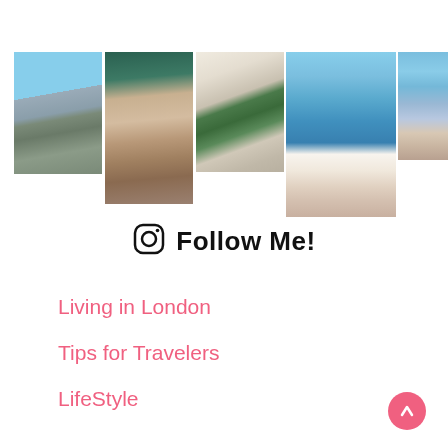[Figure (photo): Collage of 5 Instagram-style photos: street scene, coffee cup, person in chair, sailboat on ocean, person on rocks]
Follow Me!
Living in London
Tips for Travelers
LifeStyle